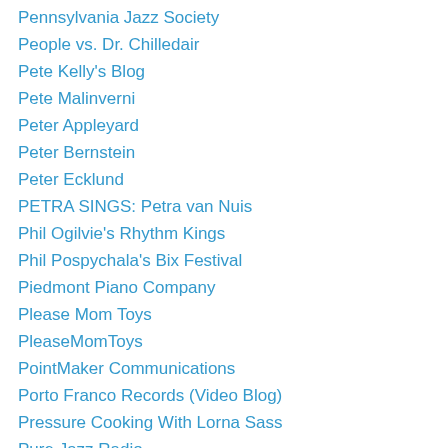Pennsylvania Jazz Society
People vs. Dr. Chilledair
Pete Kelly's Blog
Pete Malinverni
Peter Appleyard
Peter Bernstein
Peter Ecklund
PETRA SINGS: Petra van Nuis
Phil Ogilvie's Rhythm Kings
Phil Pospychala's Bix Festival
Piedmont Piano Company
Please Mom Toys
PleaseMomToys
PointMaker Communications
Porto Franco Records (Video Blog)
Pressure Cooking With Lorna Sass
Pure Jazz Radio
Pustoblogsky
Quiet Bubble
Radio Mystery Theatre